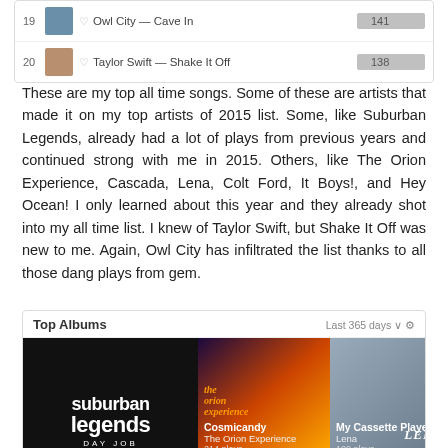| # | thumb | heart | Song | Plays |
| --- | --- | --- | --- | --- |
| 19 |  | ♡ | Owl City — Cave In | 141 |
| 20 |  | ♡ | Taylor Swift — Shake It Off | 138 |
These are my top all time songs. Some of these are artists that made it on my top artists of 2015 list. Some, like Suburban Legends, already had a lot of plays from previous years and continued strong with me in 2015. Others, like The Orion Experience, Cascada, Lena, Colt Ford, It Boys!, and Hey Ocean! I only learned about this year and they already shot into my all time list. I knew of Taylor Swift, but Shake It Off was new to me. Again, Owl City has infiltrated the list thanks to all those dang plays from gem.
[Figure (screenshot): Top Albums widget showing Suburban Legends - Day Job as the main album, The Orion Experience - Cosmicandy with 214 plays, and Lena - My Cassette Player with 100 plays. Header shows 'Last 365 days' filter.]